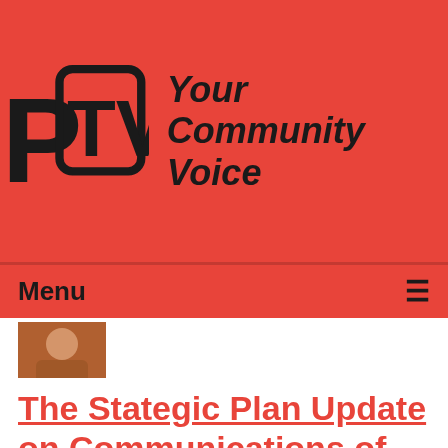[Figure (logo): PCTV logo with 'Your Community Voice' tagline on red background]
Menu ≡
[Figure (photo): Small thumbnail image of a person, partially visible]
The Stategic Plan Update on Communications of 01-13-15
Airdate: 01/13/2015
Guests: Kat Nemec